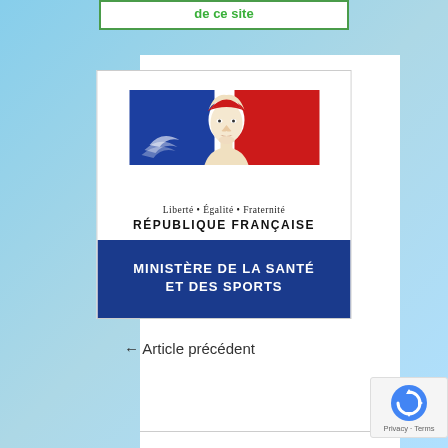[Figure (logo): Partial top banner with green border and green text 'de ce site']
[Figure (logo): French Republic official logo: Marianne profile with blue and red flag panels, motto 'Liberté • Égalité • Fraternité', 'RÉPUBLIQUE FRANÇAISE', and blue lower panel with 'MINISTÈRE DE LA SANTÉ ET DES SPORTS' in white text]
← Article précédent